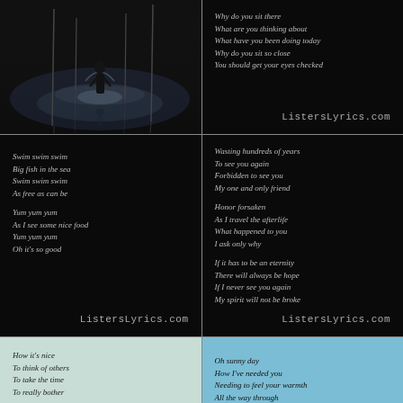[Figure (photo): Dark moody painting/photo of a figure standing near reflective water with masts or poles in background]
Why do you sit there
What are you thinking about
What have you been doing today
Why do you sit so close
You should get your eyes checked

ListersLyrics.com
Swim swim swim
Big fish in the sea
Swim swim swim
As free as can be

Yum yum yum
As I see some nice food
Yum yum yum
Oh it's so good

ListersLyrics.com
Wasting hundreds of years
To see you again
Forbidden to see you
My one and only friend

Honor forsaken
As I travel the afterlife
What happened to you
I ask only why

If it has to be an eternity
There will always be hope
If I never see you again
My spirit will not be broke

ListersLyrics.com
How it's nice
To think of others
To take the time
To really bother

Not just for you
For the other soul's sake
Not to judge
Or to forsake

Even just to listen
To a story told
To show them you care
Oh sunny day
How I've needed you
Needing to feel your warmth
All the way through

This day I will basque
Until you are too much
When that moment comes
I know I've had enough